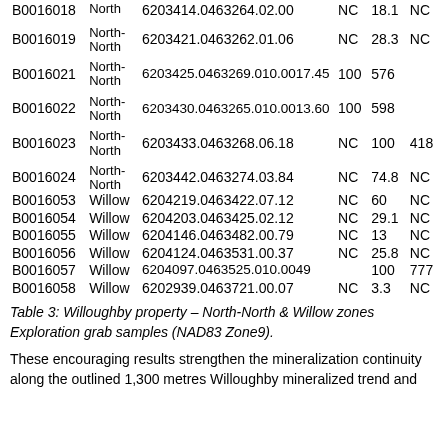| ID | Zone | Coordinates | NC | Value | NC |
| --- | --- | --- | --- | --- | --- |
| B0016018 | North | 6203414.0463264.02.00 | NC | 18.1 | NC |
| B0016019 | North-North | 6203421.0463262.01.06 | NC | 28.3 | NC |
| B0016021 | North-North | 6203425.0463269.010.0017.45 | 100 | 576 |  |
| B0016022 | North-North | 6203430.0463265.010.0013.60 | 100 | 598 |  |
| B0016023 | North-North | 6203433.0463268.06.18 | NC | 100 | 418 |
| B0016024 | North-North | 6203442.0463274.03.84 | NC | 74.8 | NC |
| B0016053 | Willow | 6204219.0463422.07.12 | NC | 60 | NC |
| B0016054 | Willow | 6204203.0463425.02.12 | NC | 29.1 | NC |
| B0016055 | Willow | 6204146.0463482.00.79 | NC | 13 | NC |
| B0016056 | Willow | 6204124.0463531.00.37 | NC | 25.8 | NC |
| B0016057 | Willow | 6204097.0463525.010.0049 |  | 100 | 777 |
| B0016058 | Willow | 6202939.0463721.00.07 | NC | 3.3 | NC |
Table 3: Willoughby property – North-North & Willow zones Exploration grab samples (NAD83 Zone9).
These encouraging results strengthen the mineralization continuity along the outlined 1,300 metres Willoughby mineralized trend and